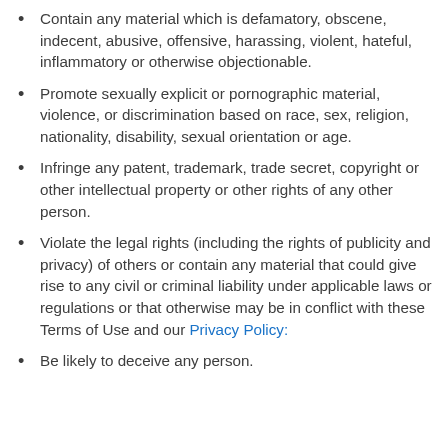Contain any material which is defamatory, obscene, indecent, abusive, offensive, harassing, violent, hateful, inflammatory or otherwise objectionable.
Promote sexually explicit or pornographic material, violence, or discrimination based on race, sex, religion, nationality, disability, sexual orientation or age.
Infringe any patent, trademark, trade secret, copyright or other intellectual property or other rights of any other person.
Violate the legal rights (including the rights of publicity and privacy) of others or contain any material that could give rise to any civil or criminal liability under applicable laws or regulations or that otherwise may be in conflict with these Terms of Use and our Privacy Policy:
Be likely to deceive any person.